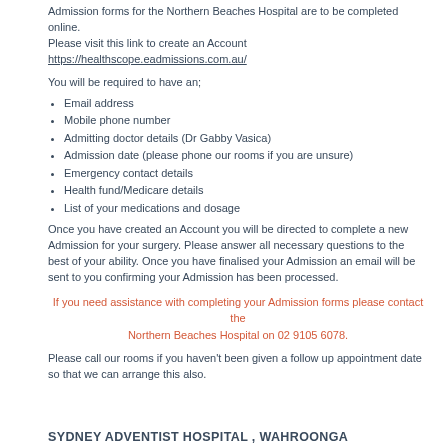Admission forms for the Northern Beaches Hospital are to be completed online.
Please visit this link to create an Account https://healthscope.eadmissions.com.au/
You will be required to have an;
Email address
Mobile phone number
Admitting doctor details (Dr Gabby Vasica)
Admission date (please phone our rooms if you are unsure)
Emergency contact details
Health fund/Medicare details
List of your medications and dosage
Once you have created an Account you will be directed to complete a new Admission for your surgery. Please answer all necessary questions to the best of your ability. Once you have finalised your Admission an email will be sent to you confirming your Admission has been processed.
If you need assistance with completing your Admission forms please contact the Northern Beaches Hospital on 02 9105 6078.
Please call our rooms if you haven't been given a follow up appointment date so that we can arrange this also.
SYDNEY ADVENTIST HOSPITAL , WAHROONGA